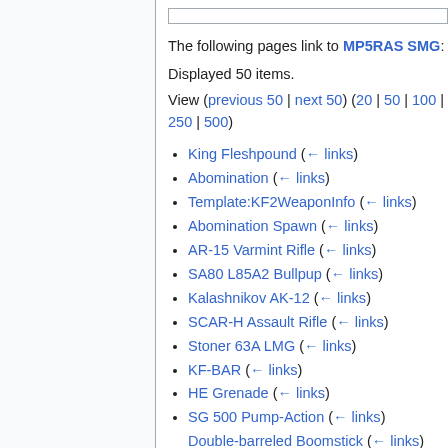The following pages link to MP5RAS SMG:
Displayed 50 items.
View (previous 50 | next 50) (20 | 50 | 100 | 250 | 500)
King Fleshpound  (← links)
Abomination  (← links)
Template:KF2WeaponInfo  (← links)
Abomination Spawn  (← links)
AR-15 Varmint Rifle  (← links)
SA80 L85A2 Bullpup  (← links)
Kalashnikov AK-12  (← links)
SCAR-H Assault Rifle  (← links)
Stoner 63A LMG  (← links)
KF-BAR  (← links)
HE Grenade  (← links)
SG 500 Pump-Action  (← links)
Double-barreled Boomstick  (← links)